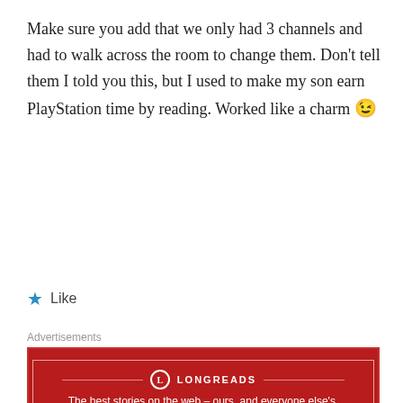Make sure you add that we only had 3 channels and had to walk across the room to change them. Don't tell them I told you this, but I used to make my son earn PlayStation time by reading. Worked like a charm 😉
★ Like
Advertisements
[Figure (other): Longreads advertisement banner: red background with Longreads logo and tagline 'The best stories on the web – ours, and everyone else's.']
REPORT THIS AD
[Figure (other): User avatar icon for commenter JO, teal/blue pixelated avatar graphic]
JO
Advertisements
[Figure (other): WordPress advertisement: beige background, text 'Professionally designed sites in less than a week' with WordPress logo]
REPORT THIS AD